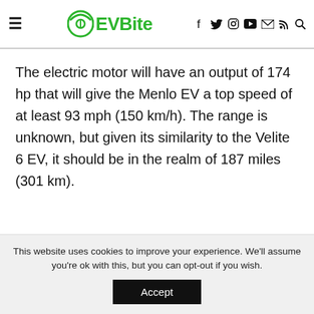EVBite
The electric motor will have an output of 174 hp that will give the Menlo EV a top speed of at least 93 mph (150 km/h). The range is unknown, but given its similarity to the Velite 6 EV, it should be in the realm of 187 miles (301 km).
This website uses cookies to improve your experience. We'll assume you're ok with this, but you can opt-out if you wish. Accept